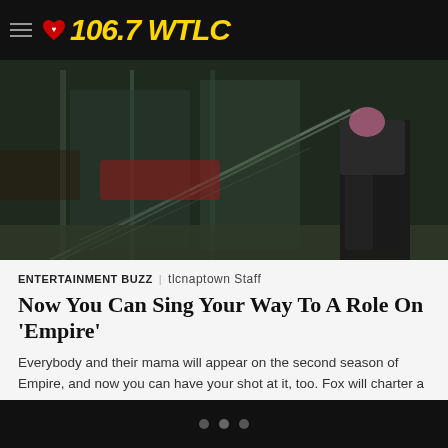106.7 WTLC
[Figure (photo): Dark photo of a person on an escalator or glass staircase, wearing leather pants and a sequined/textured top, shot from a low angle looking up.]
ENTERTAINMENT BUZZ | tlcnaptown Staff
Now You Can Sing Your Way To A Role On 'Empire'
Everybody and their mama will appear on the second season of Empire, and now you can have your shot at it, too. Fox will charter a bus…
[Figure (other): Broken image placeholder]